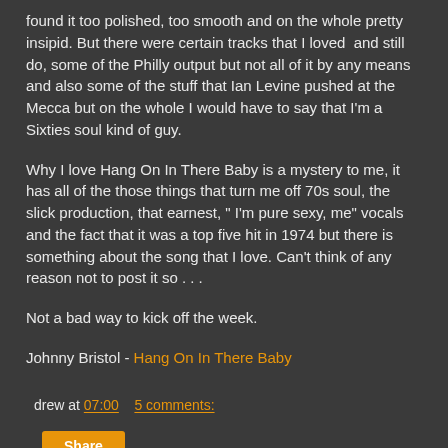found it too polished, too smooth and on the whole pretty insipid. But there were certain tracks that I loved  and still do, some of the Philly output but not all of it by any means and also some of the stuff that Ian Levine pushed at the Mecca but on the whole I would have to say that I'm a Sixties soul kind of guy.
Why I love Hang On In There Baby is a mystery to me, it has all of the those things that turn me off 70s soul, the slick production, that earnest, " I'm pure sexy, me" vocals and the fact that it was a top five hit in 1974 but there is something about the song that I love. Can't think of any reason not to post it so . . .
Not a bad way to kick off the week.
Johnny Bristol - Hang On In There Baby
drew at 07:00    5 comments:
Share